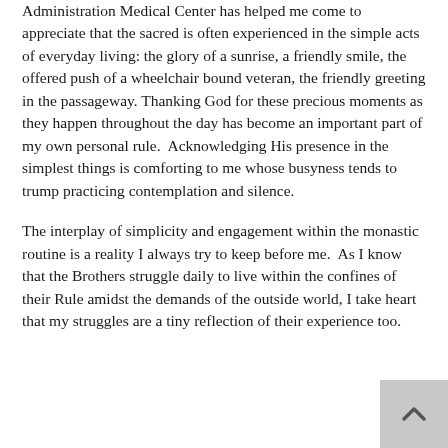Administration Medical Center has helped me come to appreciate that the sacred is often experienced in the simple acts of everyday living: the glory of a sunrise, a friendly smile, the offered push of a wheelchair bound veteran, the friendly greeting in the passageway. Thanking God for these precious moments as they happen throughout the day has become an important part of my own personal rule.  Acknowledging His presence in the simplest things is comforting to me whose busyness tends to trump practicing contemplation and silence.
The interplay of simplicity and engagement within the monastic routine is a reality I always try to keep before me.  As I know that the Brothers struggle daily to live within the confines of their Rule amidst the demands of the outside world, I take heart that my struggles are a tiny reflection of their experience too.